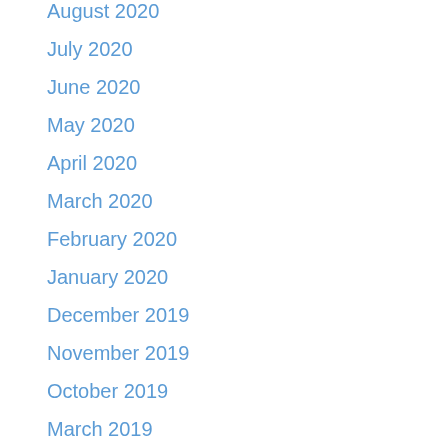August 2020
July 2020
June 2020
May 2020
April 2020
March 2020
February 2020
January 2020
December 2019
November 2019
October 2019
March 2019
February 2019
January 2019